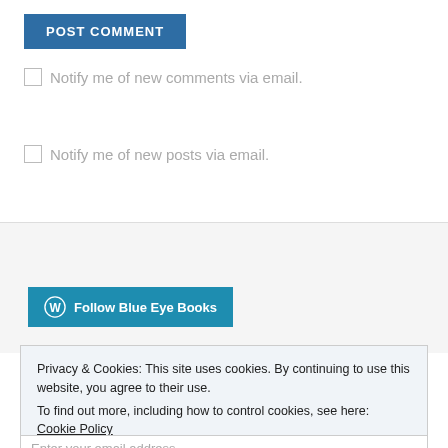POST COMMENT
Notify me of new comments via email.
Notify me of new posts via email.
[Figure (other): Follow Blue Eye Books button with WordPress icon]
Privacy & Cookies: This site uses cookies. By continuing to use this website, you agree to their use.
To find out more, including how to control cookies, see here: Cookie Policy
Close and accept
Enter your email address